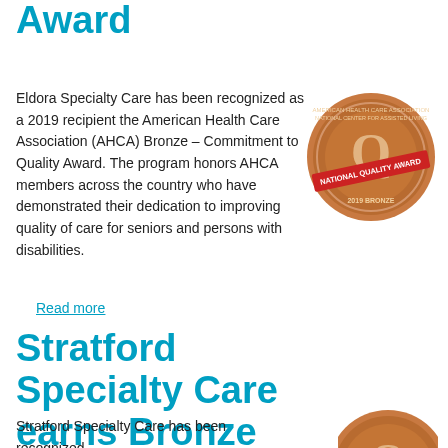Award
Eldora Specialty Care has been recognized as a 2019 recipient the American Health Care Association (AHCA) Bronze – Commitment to Quality Award. The program honors AHCA members across the country who have demonstrated their dedication to improving quality of care for seniors and persons with disabilities.
[Figure (illustration): Bronze AHCA National Quality Award medal/badge for 2019]
Read more
Stratford Specialty Care earns Bronze National Quality Award
Stratford Specialty Care has been recognized
[Figure (illustration): Bronze AHCA National Quality Award medal/badge (partially visible)]